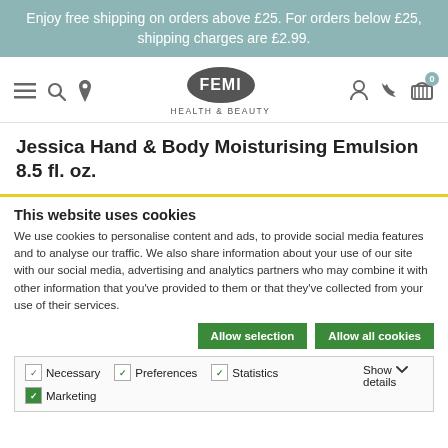Enjoy free shipping on orders above £25. For orders below £25, shipping charges are £2.99.
[Figure (logo): FEMI Health & Beauty logo with navigation icons (hamburger menu, search, location pin on left; user, phone, cart on right)]
Jessica Hand & Body Moisturising Emulsion 8.5 fl. oz.
This website uses cookies
We use cookies to personalise content and ads, to provide social media features and to analyse our traffic. We also share information about your use of our site with our social media, advertising and analytics partners who may combine it with other information that you've provided to them or that they've collected from your use of their services.
Allow selection | Allow all cookies
Necessary  Preferences  Statistics  Marketing  Show details